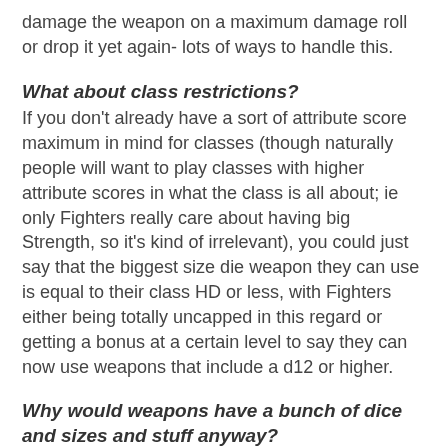damage the weapon on a maximum damage roll or drop it yet again- lots of ways to handle this.
What about class restrictions?
If you don't already have a sort of attribute score maximum in mind for classes (though naturally people will want to play classes with higher attribute scores in what the class is all about; ie only Fighters really care about having big Strength, so it's kind of irrelevant), you could just say that the biggest size die weapon they can use is equal to their class HD or less, with Fighters either being totally uncapped in this regard or getting a bonus at a certain level to say they can now use weapons that include a d12 or higher.
Why would weapons have a bunch of dice and sizes and stuff anyway?
This is a total opinion piece, not just this answer for this entire blogpost. Saying it's an “experiment” isn't much of a defense, but I think the core concept is interesting. Imagine it; a character rolls a bunch of die all at once to do a huge hit. Maybe they craft or find a weapon with a very strange manner of attack; it can swap between forms and attack